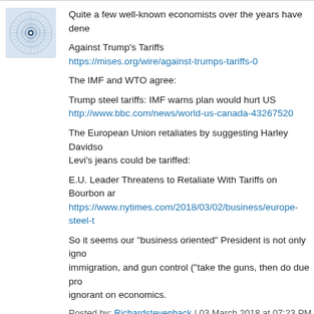[Figure (illustration): Circular avatar icon with gear/sunburst pattern in blue-gray tones]
Quite a few well-known economists over the years have dene
Against Trump's Tariffs
https://mises.org/wire/against-trumps-tariffs-0
The IMF and WTO agree:
Trump steel tariffs: IMF warns plan would hurt US
http://www.bbc.com/news/world-us-canada-43267520
The European Union retaliates by suggesting Harley Davidson and Levi's jeans could be tariffed:
E.U. Leader Threatens to Retaliate With Tariffs on Bourbon an
https://www.nytimes.com/2018/03/02/business/europe-steel-t
So it seems our "business oriented" President is not only ignorant on immigration, and gun control ("take the guns, then do due pro ignorant on economics.
Posted by: Richardstevenhack | 03 March 2018 at 07:23 PM
[Figure (illustration): Green leaf/plant avatar icon]
Then go and live those countries and be gone from ours.